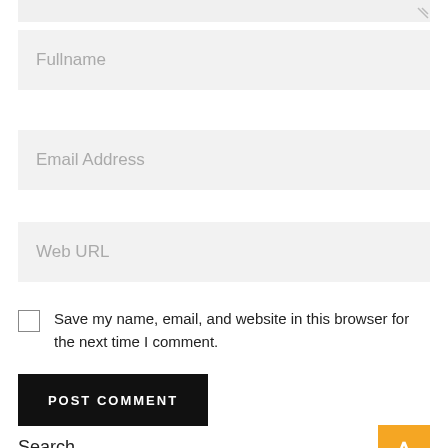[Figure (screenshot): Partial textarea input field at top of page with resize handle]
Fullname
Email Address
Web URL
Save my name, email, and website in this browser for the next time I comment.
POST COMMENT
Search
[Figure (screenshot): Partial search input field and orange scroll-to-top button with up arrow]